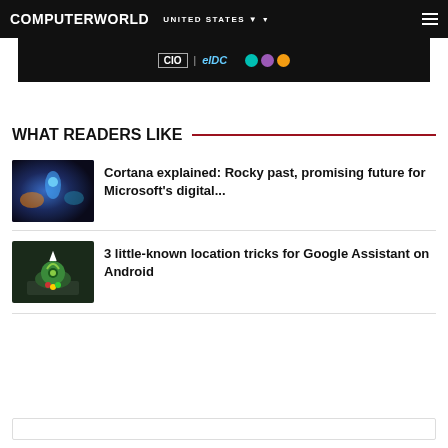COMPUTERWORLD UNITED STATES
[Figure (photo): Advertisement banner with CIO and eIDC logos and colorful circles on black background]
WHAT READERS LIKE
[Figure (photo): Cortana digital assistant article thumbnail - blue glowing light on dark background]
Cortana explained: Rocky past, promising future for Microsoft's digital...
[Figure (photo): Google Assistant location tricks article thumbnail - green Android figure with map pin on dark background]
3 little-known location tricks for Google Assistant on Android